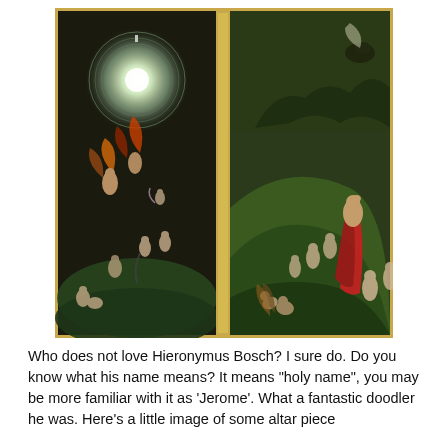[Figure (illustration): Two panels of a Hieronymus Bosch altarpiece painting. Left panel shows dark background with angels and figures ascending toward a luminous circular light at top. Right panel shows a green landscape with groups of nude figures and a figure in red robes gazing upward.]
Who does not love Hieronymus Bosch? I sure do. Do you know what his name means? It means "holy name", you may be more familiar with it as 'Jerome'. What a fantastic doodler he was. Here's a little image of some altar piece